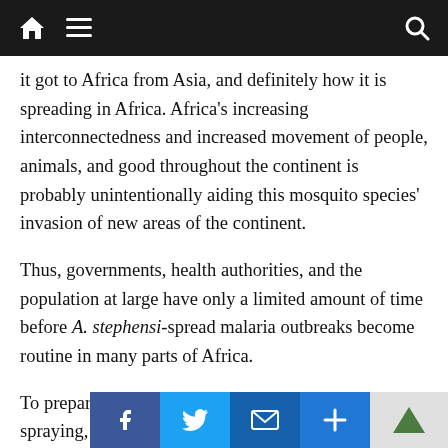Navigation bar with home, menu, and search icons
it got to Africa from Asia, and definitely how it is spreading in Africa. Africa's increasing interconnectedness and increased movement of people, animals, and good throughout the continent is probably unintentionally aiding this mosquito species' invasion of new areas of the continent.
Thus, governments, health authorities, and the population at large have only a limited amount of time before A. stephensi-spread malaria outbreaks become routine in many parts of Africa.
To prepare for this, resources like anti-mosquito spraying, mosquito nets, anti-malaria drugs, and other supplies need to be collected and made ready to deploy.
Most crucially perhaps, peop... t... re... the... c...